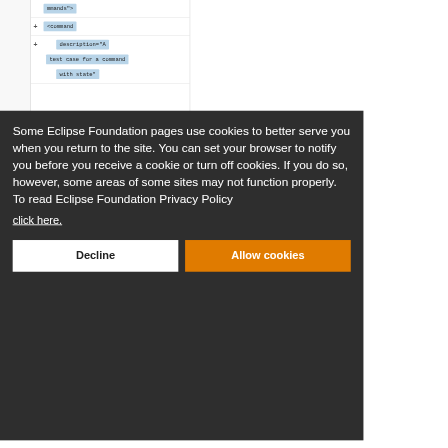[Figure (screenshot): Code editor tree view showing XML elements with blue highlighted rows: 'mmands">', '<command', 'description="A', '+test case for a command', 'with state"']
Some Eclipse Foundation pages use cookies to better serve you when you return to the site. You can set your browser to notify you before you receive a cookie or turn off cookies. If you do so, however, some areas of some sites may not function properly. To read Eclipse Foundation Privacy Policy
click here.
Decline
Allow cookies